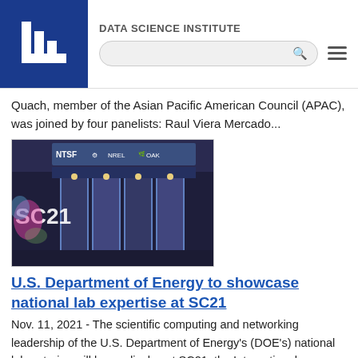DATA SCIENCE INSTITUTE
Quach, member of the Asian Pacific American Council (APAC), was joined by four panelists: Raul Viera Mercado...
[Figure (photo): Photo of SC21 conference booth showing national lab banners including NREL, Oak Ridge, and other DOE labs. Text 'SC21' visible on the left side.]
U.S. Department of Energy to showcase national lab expertise at SC21
Nov. 11, 2021 - The scientific computing and networking leadership of the U.S. Department of Energy's (DOE's) national laboratories will be on display at SC21, the International Conference for High-Performance Computing, Networking, Storage and Analysis. The conference takes place Nov. 14-19